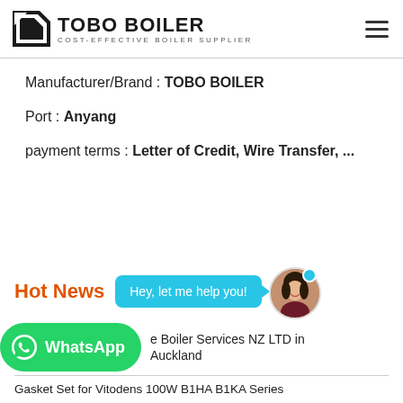TOBO BOILER — COST-EFFECTIVE BOILER SUPPLIER
Manufacturer/Brand : TOBO BOILER
Port : Anyang
payment terms : Letter of Credit, Wire Transfer, ...
Hot News
[Figure (screenshot): Chat bubble saying 'Hey, let me help you!' with female avatar and blue notification dot, and WhatsApp button overlay]
e Boiler Services NZ LTD in Auckland
Gasket Set for Vitodens 100W B1HA B1KA Series